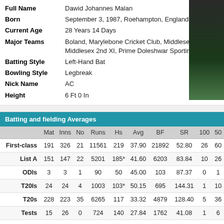Full Name: Dawid Johannes Malan
Born: September 3, 1987, Roehampton, England
Current Age: 28 Years 14 Days
Major Teams: Boland, Marylebone Cricket Club, Middlesex, Middlesex 2nd XI, Prime Doleshwar Sporting Club
Batting Style: Left-Hand Bat
Bowling Style: Legbreak
Nick Name: AC
Height: 6 Ft 0 In
Batting and fielding Averages
|  | Mat | Inns | No | Runs | Hs | Avg | BF | SR | 100 | 50 |
| --- | --- | --- | --- | --- | --- | --- | --- | --- | --- | --- |
| First-class | 191 | 326 | 21 | 11561 | 219 | 37.90 | 21892 | 52.80 | 26 | 60 |
| List A | 151 | 147 | 22 | 5201 | 185* | 41.60 | 6203 | 83.84 | 10 | 26 |
| ODIs | 3 | 3 | 1 | 90 | 50 | 45.00 | 103 | 87.37 | 0 | 1 |
| T20Is | 24 | 24 | 4 | 1003 | 103* | 50.15 | 695 | 144.31 | 1 | 10 |
| T20s | 228 | 223 | 35 | 6265 | 117 | 33.32 | 4879 | 128.40 | 5 | 36 |
| Tests | 15 | 26 | 0 | 724 | 140 | 27.84 | 1762 | 41.08 | 1 | 6 |